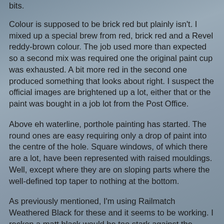bits.
Colour is supposed to be brick red but plainly isn't. I mixed up a special brew from red, brick red and a Revel reddy-brown colour. The job used more than expected so a second mix was required one the original paint cup was exhausted. A bit more red in the second one produced something that looks about right. I suspect the official images are brightened up a lot, either that or the paint was bought in a job lot from the Post Office.
Above eh waterline, porthole painting has started. The round ones are easy requiring only a drop of paint into the centre of the hole. Square windows, of which there are a lot, have been represented with raised mouldings. Well, except where they are on sloping parts where the well-defined top taper to nothing at the bottom.
As previously mentioned, I'm using Railmatch Weathered Black for these and it seems to be working. I reckon a matt black would be too stark against the famous white sides.
This fiddly work is slow so after a while tension in the fingers